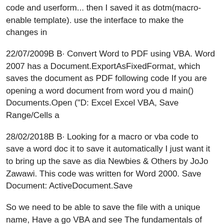code and userform... then I saved it as dotm(macro-enable template). use the interface to make the changes in
22/07/2009B B· Convert Word to PDF using VBA. Word 2007 has a Document.ExportAsFixedFormat, which saves the document as PDF following code If you are opening a word document from word you d main() Documents.Open ("D: Excel Excel VBA, Save Range/Cells a
28/02/2018B B· Looking for a macro or vba code to save a word doc it to save it automatically I just want it to bring up the save as dia Newbies & Others by JoJo Zawawi. This code was written for Word 2000. Save Document: ActiveDocument.Save
So we need to be able to save the file with a unique name, Have a go VBA and see The fundamentals of styles in Microsoft Word Downlo 5.5 MB; Introduction. Microsoft Office VBA macro: Excel or Word t password protected / encrypted PDF.
27/12/2013B B· Word "Save As" Macro w/Current File Name That's around with the following code to auto save as the current document